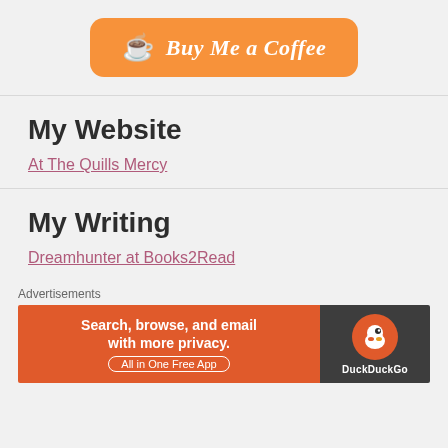[Figure (other): Buy Me a Coffee orange button with coffee cup emoji]
My Website
At The Quills Mercy
My Writing
Dreamhunter at Books2Read
Advertisements
[Figure (screenshot): DuckDuckGo advertisement banner: Search, browse, and email with more privacy. All in One Free App]